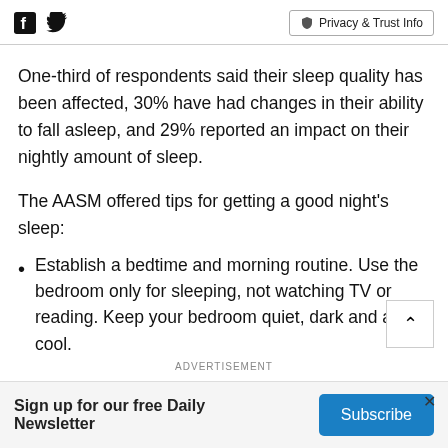Facebook Twitter Privacy & Trust Info
One-third of respondents said their sleep quality has been affected, 30% have had changes in their ability to fall asleep, and 29% reported an impact on their nightly amount of sleep.
The AASM offered tips for getting a good night's sleep:
Establish a bedtime and morning routine. Use the bedroom only for sleeping, not watching TV or reading. Keep your bedroom quiet, dark and a bit cool.
ADVERTISEMENT
Sign up for our free Daily Newsletter